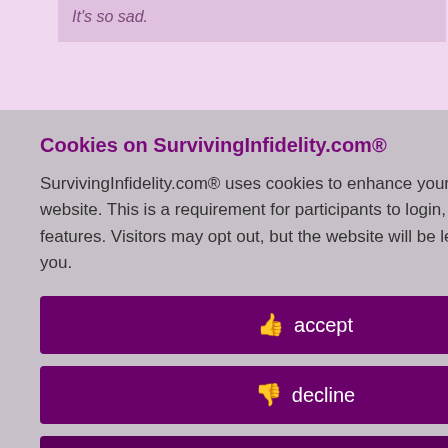It's so sad.
n dogs, you wake up
id 8532045
lour fluffing.
Cookies on SurvivingInfidelity.com®
SurvivingInfidelity.com® uses cookies to enhance your visit to our website. This is a requirement for participants to login, post and use other features. Visitors may opt out, but the website will be less functional for you.
accept
decline
about cookies
Policy